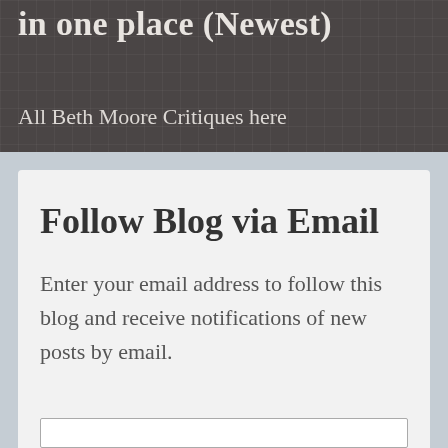in one place (Newest)
All Beth Moore Critiques here
Follow Blog via Email
Enter your email address to follow this blog and receive notifications of new posts by email.